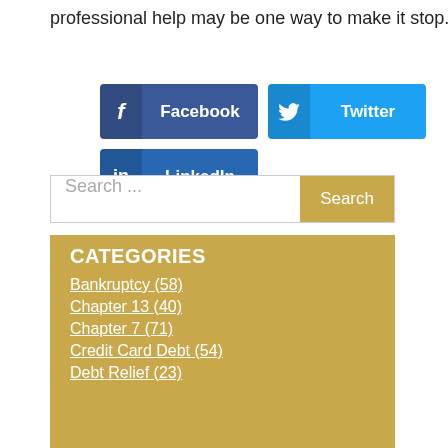professional help may be one way to make it stop.
[Figure (screenshot): Social media share buttons: Facebook (dark blue), Twitter (light blue), LinkedIn (blue)]
Search ...
CATEGORIES
Bankruptcy (58)
Chapter 13 (40)
Chapter 7 (71)
Credit Card Debt (54)
Debt Relief (23)